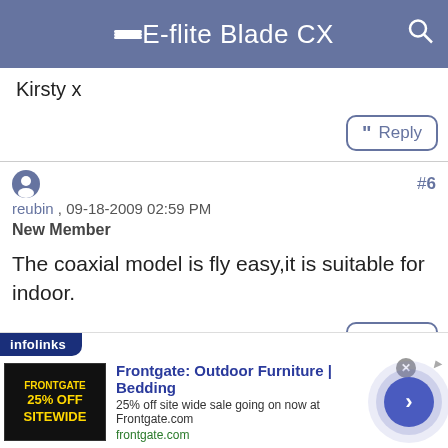E-flite Blade CX
Kirsty x
reubin , 09-18-2009 02:59 PM
#6
New Member
The coaxial model is fly easy,it is suitable for indoor.
[Figure (screenshot): Advertisement banner: Frontgate Outdoor Furniture and Bedding, 25% off site wide sale, with infolinks branding and navigation arrow]